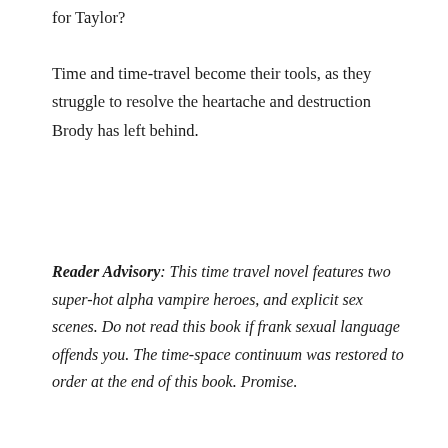for Taylor?
Time and time-travel become their tools, as they struggle to resolve the heartache and destruction Brody has left behind.
Reader Advisory: This time travel novel features two super-hot alpha vampire heroes, and explicit sex scenes. Do not read this book if frank sexual language offends you. The time-space continuum was restored to order at the end of this book. Promise.